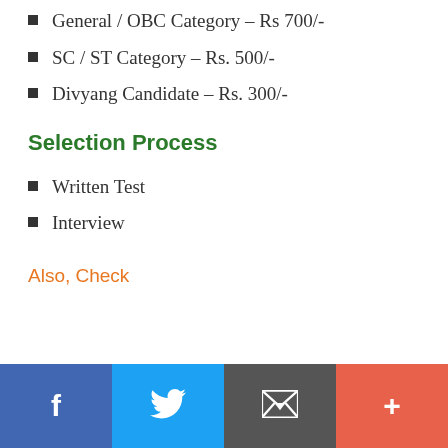General / OBC Category – Rs 700/-
SC / ST Category – Rs. 500/-
Divyang Candidate – Rs. 300/-
Selection Process
Written Test
Interview
Also, Check
Social share bar: Facebook, Twitter, Email, Plus